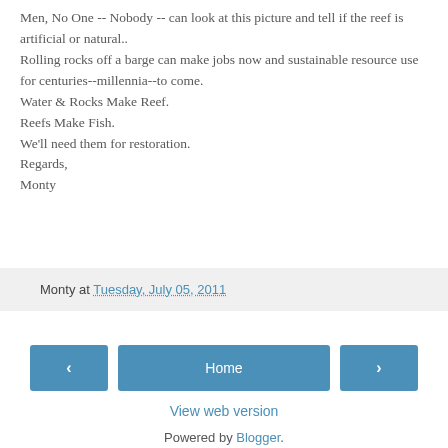Men, No One -- Nobody -- can look at this picture and tell if the reef is artificial or natural.. Rolling rocks off a barge can make jobs now and sustainable resource use for centuries--millennia--to come. Water & Rocks Make Reef. Reefs Make Fish. We'll need them for restoration. Regards, Monty
Monty at Tuesday, July 05, 2011
‹   Home   ›
View web version
Powered by Blogger.